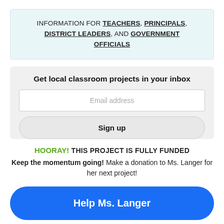INFORMATION FOR TEACHERS, PRINCIPALS, DISTRICT LEADERS, AND GOVERNMENT OFFICIALS
Get local classroom projects in your inbox
Email address
Sign up
HOORAY! THIS PROJECT IS FULLY FUNDED
Keep the momentum going! Make a donation to Ms. Langer for her next project!
Help Ms. Langer